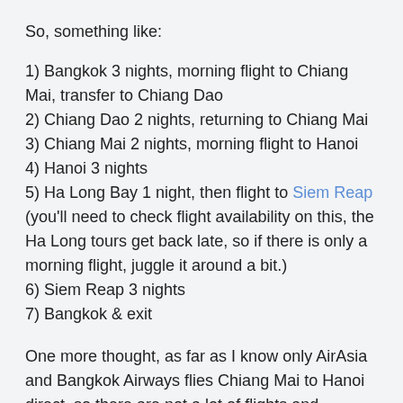So, something like:
1) Bangkok 3 nights, morning flight to Chiang Mai, transfer to Chiang Dao
2) Chiang Dao 2 nights, returning to Chiang Mai
3) Chiang Mai 2 nights, morning flight to Hanoi
4) Hanoi 3 nights
5) Ha Long Bay 1 night, then flight to Siem Reap (you'll need to check flight availability on this, the Ha Long tours get back late, so if there is only a morning flight, juggle it around a bit.)
6) Siem Reap 3 nights
7) Bangkok & exit
One more thought, as far as I know only AirAsia and Bangkok Airways flies Chiang Mai to Hanoi direct, so there are not a lot of flights and